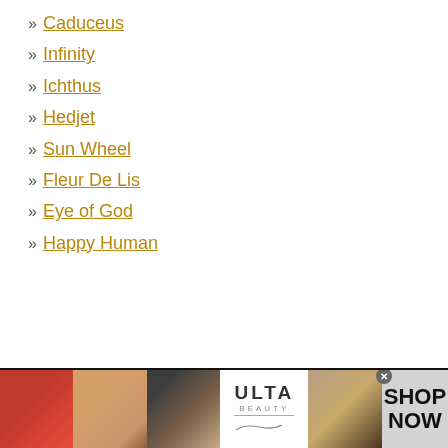» Caduceus
» Infinity
» Ichthus
» Hedjet
» Sun Wheel
» Fleur De Lis
» Eye of God
» Happy Human
[Figure (photo): Ulta Beauty advertisement banner with beauty product images (lips, makeup brush, eye, Ulta logo, eye makeup) and 'SHOP NOW' text]